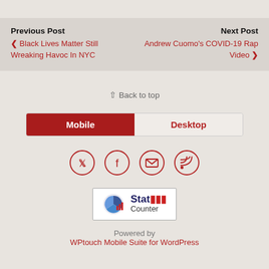Previous Post
‹ Black Lives Matter Still Wreaking Havoc In NYC
Next Post
Andrew Cuomo's COVID-19 Rap Video ›
⇧ Back to top
Mobile | Desktop
[Figure (other): Social media icon buttons: Twitter, Facebook, Email, RSS]
[Figure (logo): StatCounter logo badge]
Powered by
WPtouch Mobile Suite for WordPress